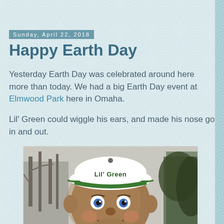Sunday, April 22, 2018
Happy Earth Day
Yesterday Earth Day was celebrated around here more than today. We had a big Earth Day event at Elmwood Park here in Omaha.
Lil' Green could wiggle his ears, and made his nose go in and out.
[Figure (photo): Photo of Lil' Green mascot character — a costumed figure with large round head, blue eyes, big smile, wearing a white and green baseball cap that reads 'Lil' Green', outdoors with bare trees in background]